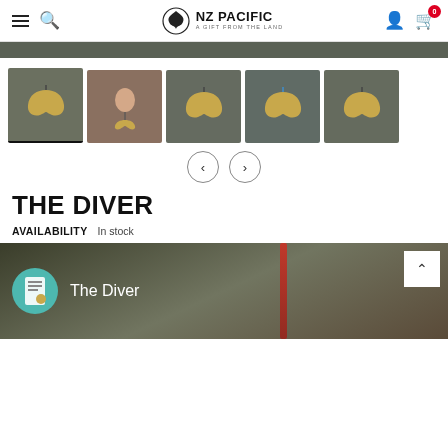NZ PACIFIC — A GIFT FROM THE LAND — navigation bar with hamburger menu, search, logo, user icon, cart (0)
[Figure (screenshot): Dark olive/green banner strip below the header]
[Figure (photo): Row of 5 product thumbnail images showing a whale tail pendant necklace from different angles; first thumbnail is selected (underlined)]
[Figure (other): Previous and Next navigation arrow buttons (circular outline buttons with < and > arrows)]
THE DIVER
AVAILABILITY    In stock
[Figure (screenshot): Product video preview panel showing The Diver label with teal circle icon, product name 'The Diver', red cord pendant visible, and back-to-top button]